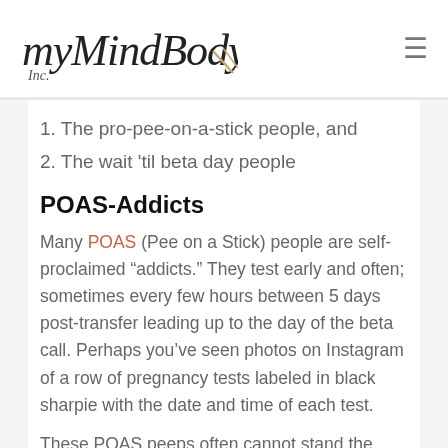myMindBodyBaby Inc.
1. The pro-pee-on-a-stick people, and
2. The wait 'til beta day people
POAS-Addicts
Many POAS (Pee on a Stick) people are self-proclaimed “addicts.” They test early and often; sometimes every few hours between 5 days post-transfer leading up to the day of the beta call. Perhaps you’ve seen photos on Instagram of a row of pregnancy tests labeled in black sharpie with the date and time of each test.
These POAS peeps often cannot stand the anticipation of the two-week wait. It’s too much. They’d rather take a pregnancy test and know if the procedure worked sooner, even if the results aren’t good. In their minds, it’s a win-win. If it’s